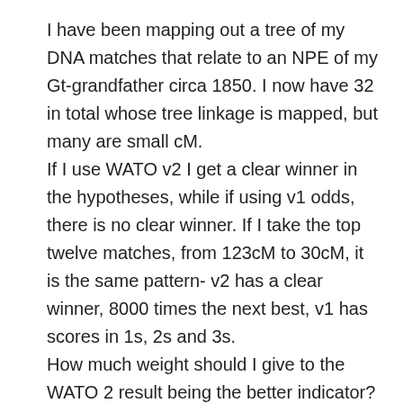I have been mapping out a tree of my DNA matches that relate to an NPE of my Gt-grandfather circa 1850. I now have 32 in total whose tree linkage is mapped, but many are small cM. If I use WATO v2 I get a clear winner in the hypotheses, while if using v1 odds, there is no clear winner. If I take the top twelve matches, from 123cM to 30cM, it is the same pattern- v2 has a clear winner, 8000 times the next best, v1 has scores in 1s, 2s and 3s. How much weight should I give to the WATO 2 result being the better indicator?